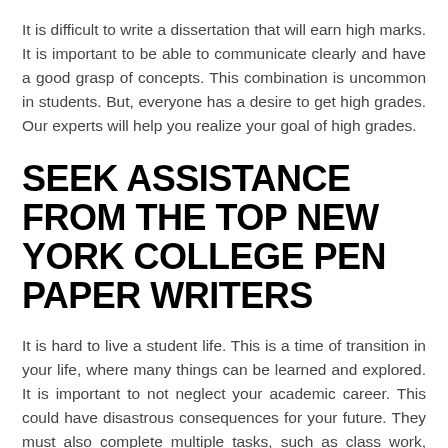It is difficult to write a dissertation that will earn high marks. It is important to be able to communicate clearly and have a good grasp of concepts. This combination is uncommon in students. But, everyone has a desire to get high grades. Our experts will help you realize your goal of high grades.
SEEK ASSISTANCE FROM THE TOP NEW YORK COLLEGE PEN PAPER WRITERS
It is hard to live a student life. This is a time of transition in your life, where many things can be learned and explored. It is important to not neglect your academic career. This could have disastrous consequences for your future. They must also complete multiple tasks, such as class work, projects, exams, and assignments. They are under tremendous pressure, which makes it difficult for them to